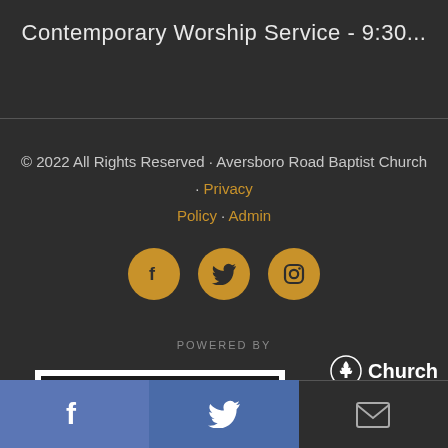Contemporary Worship Service - 9:30...
© 2022 All Rights Reserved · Aversboro Road Baptist Church · Privacy Policy · Admin
[Figure (other): Three circular social media icons (Facebook, Twitter, Instagram) in golden/amber color on dark background]
POWERED BY
[Figure (logo): Church logo with tree icon and partial text 'Church']
[Figure (other): Plan Your Visit box - white bordered box with dark interior and text 'PLAN YOUR VISIT']
[Figure (other): Bottom social sharing bar with Facebook (blue), Twitter (blue), and email (dark) buttons]